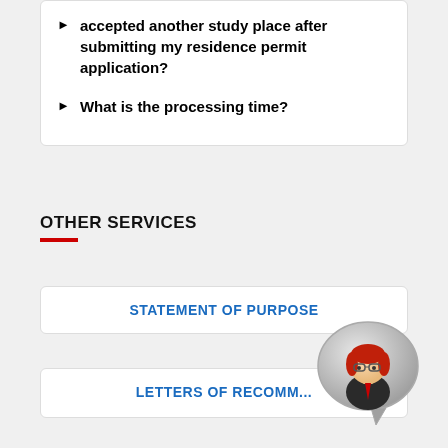accepted another study place after submitting my residence permit application?
What is the processing time?
OTHER SERVICES
STATEMENT OF PURPOSE
LETTERS OF RECOMM...
[Figure (illustration): Cartoon avatar of a woman with red hair in a speech bubble chat icon]